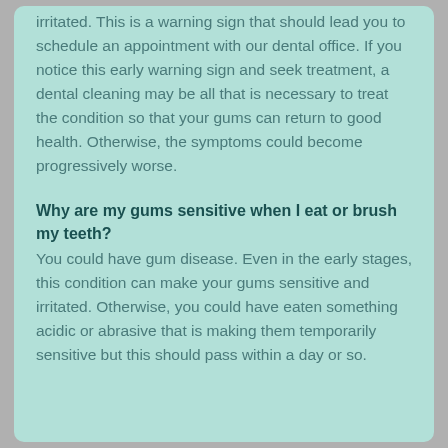irritated. This is a warning sign that should lead you to schedule an appointment with our dental office. If you notice this early warning sign and seek treatment, a dental cleaning may be all that is necessary to treat the condition so that your gums can return to good health. Otherwise, the symptoms could become progressively worse.
Why are my gums sensitive when I eat or brush my teeth?
You could have gum disease. Even in the early stages, this condition can make your gums sensitive and irritated. Otherwise, you could have eaten something acidic or abrasive that is making them temporarily sensitive but this should pass within a day or so.